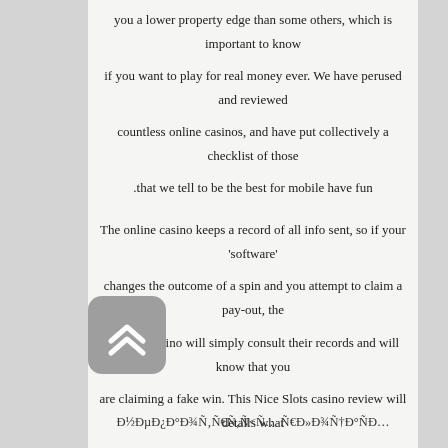you a lower property edge than some others, which is important to know if you want to play for real money ever. We have perused and reviewed countless online casinos, and have put collectively a checklist of those that we tell to be the best for mobile have fun.
The online casino keeps a record of all info sent, so if your 'software' changes the outcome of a spin and you attempt to claim a pay-out, the cellular casino will simply consult their records and will know that you are claiming a fake win. This Nice Slots casino review will detalls what this site has to offer including bonuses, games, and payment options.
Furthermore, you'll want to continuously update the app to avoid technical issues when playing the video games. The finest real money …its have top-notch security in place so you can play in safety. Ð'
[Figure (illustration): A grey rounded square button with a white double chevron (up arrow) icon]
Ð½ÐµÐ°Ð¾Ñ‚Ñ€Ñ<Ñ… ÑÐ»Ð¾Ñ‚Ð°ÑÐ…